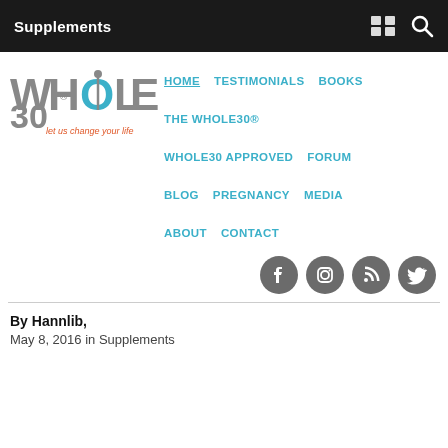Supplements
[Figure (logo): Whole30 logo with tagline 'let us change your life']
HOME   TESTIMONIALS   BOOKS   THE WHOLE30®   WHOLE30 APPROVED   FORUM   BLOG   PREGNANCY   MEDIA   ABOUT   CONTACT
[Figure (infographic): Social media icons: Facebook, Instagram, RSS, Twitter]
By Hannlib,
May 8, 2016 in Supplements